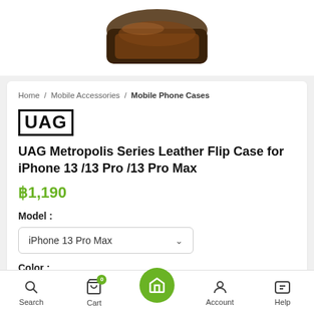[Figure (photo): Partial product image showing a leather flip case for iPhone, brown/black color, shown from top angle against white background]
Home / Mobile Accessories / Mobile Phone Cases
[Figure (logo): UAG brand logo in bold black block letters with border]
UAG Metropolis Series Leather Flip Case for iPhone 13 /13 Pro /13 Pro Max
฿1,190
Model :
iPhone 13 Pro Max ∨
Color :
Search   Cart   Home   Account   Help